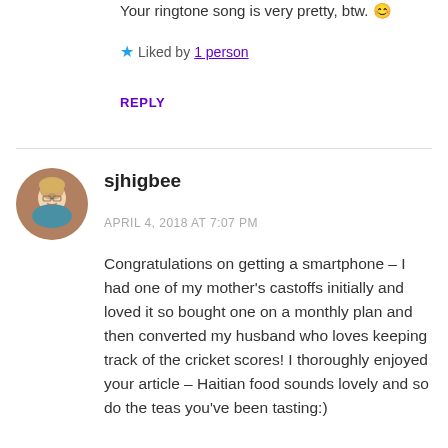Your ringtone song is very pretty, btw. 😊
★ Liked by 1 person
REPLY
[Figure (photo): Circular avatar photo of a woman with short blonde hair and glasses, wearing a blue top, smiling.]
sjhigbee
APRIL 4, 2018 AT 7:07 PM
Congratulations on getting a smartphone – I had one of my mother's castoffs initially and loved it so bought one on a monthly plan and then converted my husband who loves keeping track of the cricket scores! I thoroughly enjoyed your article – Haitian food sounds lovely and so do the teas you've been tasting:)